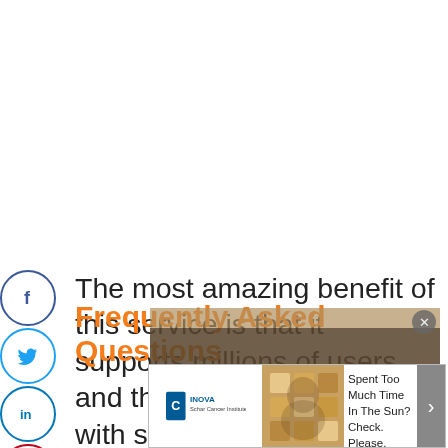The most amazing benefit of this service is that it supports millions of users and their sign-in capabilities with social identity providers such as Google, Facebook, Amazon, and Apple.
Frequently Asked Questions
[Figure (other): Video player overlay showing 'No compatible source was found for this media.' with a close button and X dismiss button, overlaying a blurred background image.]
[Figure (other): INOVA Schar Cancer Institute advertisement banner with logo and 'Spent Too Much Time In The Sun? Check. Please.' text.]